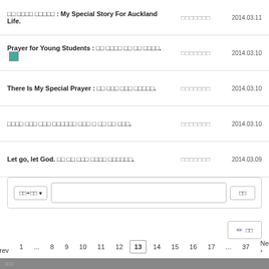□□ □□□□ □□□□□ : My Special Story For Auckland Life. | □□□□□□□ | 2014.03.11
Prayer for Young Students : □□ □□□□ □□ □□ □□□□. 🏞 | □□□□□□□ | 2014.03.10
There Is My Special Prayer : □□ □□□ □□□ □□□□□. | □□□□□□□ | 2014.03.10
□□□□ □□□ □□□ □□□□□□ □□□ □ □□ □□ □□□. | □□□□□□□ | 2014.03.10
Let go, let God. □□ □□ □□□ □□□□ □□□□□□. | □□□□□□□ | 2014.03.09
검색 dropdown + 검색어 input + 검색 button
✏ 글쓰기 button
‹ Prev  1  ...  8  9  10  11  12  13  14  15  16  17  ...  37  Next ›